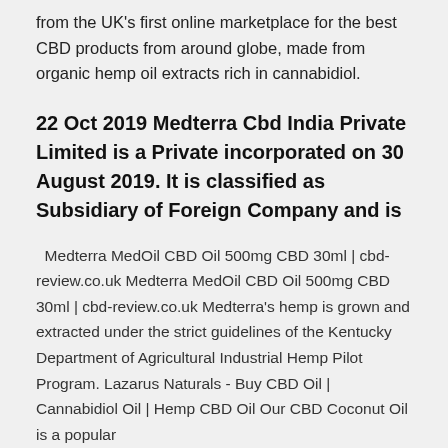from the UK's first online marketplace for the best CBD products from around globe, made from organic hemp oil extracts rich in cannabidiol.
22 Oct 2019 Medterra Cbd India Private Limited is a Private incorporated on 30 August 2019. It is classified as Subsidiary of Foreign Company and is
Medterra MedOil CBD Oil 500mg CBD 30ml | cbd-review.co.uk Medterra MedOil CBD Oil 500mg CBD 30ml | cbd-review.co.uk Medterra's hemp is grown and extracted under the strict guidelines of the Kentucky Department of Agricultural Industrial Hemp Pilot Program. Lazarus Naturals - Buy CBD Oil | Cannabidiol Oil | Hemp CBD Oil Our CBD Coconut Oil is a popular